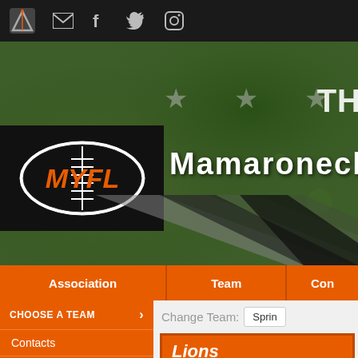Navigation bar with icons: logo, email, facebook, twitter, instagram
[Figure (screenshot): MYFL football logo with orange text on black background]
Mamaroneck Y
Association   Team   Con
CHOOSE A TEAM
Change Team: Sprin
Lions
Contacts
Schedule
Roster
Standings